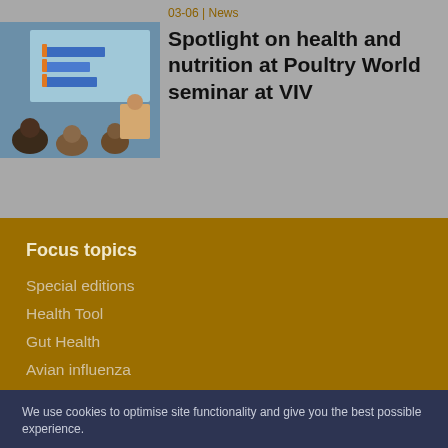[Figure (photo): A group of people attending a seminar, seated, watching a presentation screen showing bar charts and data]
03-06 | News
Spotlight on health and nutrition at Poultry World seminar at VIV
Focus topics
Special editions
Health Tool
Gut Health
Avian influenza
We use cookies to optimise site functionality and give you the best possible experience.
Accept
Cookie Preferences